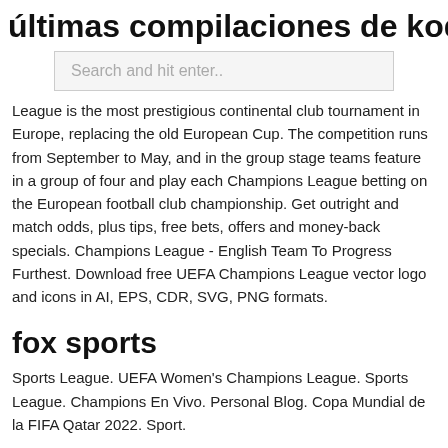últimas compilaciones de kodi 2021
Search and hit enter..
League is the most prestigious continental club tournament in Europe, replacing the old European Cup. The competition runs from September to May, and in the group stage teams feature in a group of four and play each Champions League betting on the European football club championship. Get outright and match odds, plus tips, free bets, offers and money-back specials. Champions League - English Team To Progress Furthest. Download free UEFA Champions League vector logo and icons in AI, EPS, CDR, SVG, PNG formats.
fox sports
Sports League. UEFA Women's Champions League. Sports League. Champions En Vivo. Personal Blog. Copa Mundial de la FIFA Qatar 2022. Sport.
JZvjr
zLen